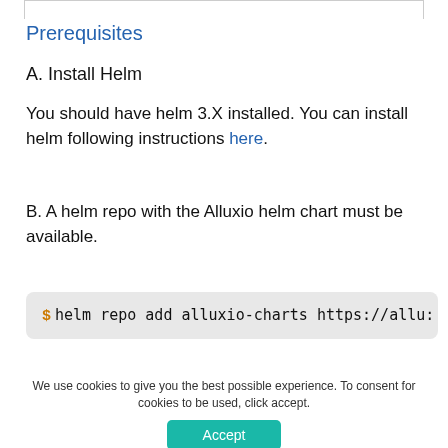Prerequisites
A. Install Helm
You should have helm 3.X installed. You can install helm following instructions here.
B. A helm repo with the Alluxio helm chart must be available.
$ helm repo add alluxio-charts https://allu…
We use cookies to give you the best possible experience. To consent for cookies to be used, click accept.
Accept
GDPR compliance powered by Autopilot.